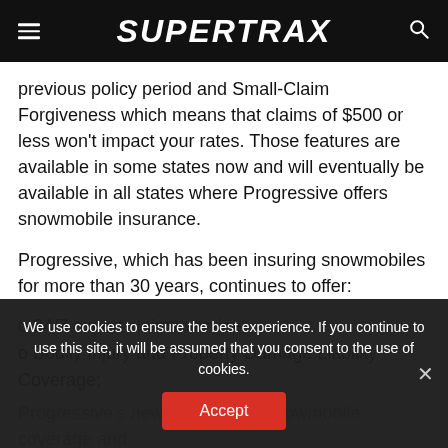SUPERTRAX
previous policy period and Small-Claim Forgiveness which means that claims of $500 or less won't impact your rates. Those features are available in some states now and will eventually be available in all states where Progressive offers snowmobile insurance.
Progressive, which has been insuring snowmobiles for more than 30 years, continues to offer:
o 24/7 expert claims service;
o Bodily Injury and Property Damage Liability Coverage;
Progressive's newly enhanced snowmobile coverage and...
We use cookies to ensure the best experience. If you continue to use this site, it will be assumed that you consent to the use of cookies.